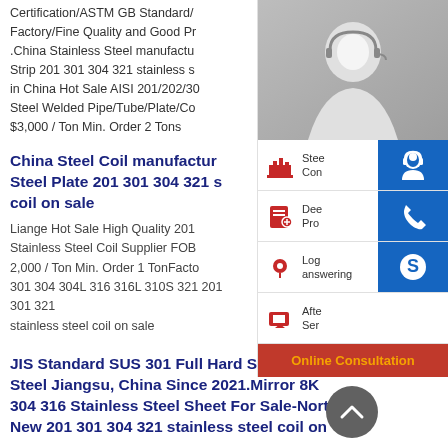Certification/ASTM GB Standard/Factory/Fine Quality and Good Pr .China Stainless Steel manufactu Strip 201 301 304 321 stainless s in China Hot Sale AISI 201/202/30 Steel Welded Pipe/Tube/Plate/Co $3,000 / Ton Min. Order 2 Tons
China Steel Coil manufactur Steel Plate 201 301 304 321 s coil on sale
Liange Hot Sale High Quality 201 Stainless Steel Coil Supplier FOB 2,000 / Ton Min. Order 1 TonFacto 301 304 304L 316 316L 310S 321 201 301 321 stainless steel coil on sale
JIS Standard SUS 301 Full Hard Stainless Steel Jiangsu, China Since 2021.Mirror 8K 304 316 Stainless Steel Sheet For Sale-North New 201 301 304 321 stainless steel coil on
[Figure (photo): Customer service representative woman with headset smiling, overlaid with a sidebar showing service icons: Steel/factory icon, Dedicated Products icon, Logistics answering icon, After Sales Service icon, and blue contact buttons for headset, phone, and Skype. An orange 'Online Consultation' button at the bottom.]